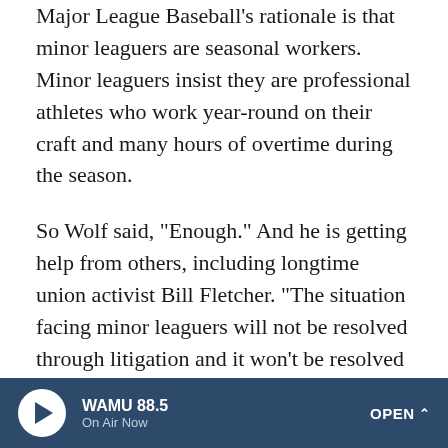Major League Baseball's rationale is that minor leaguers are seasonal workers. Minor leaguers insist they are professional athletes who work year-round on their craft and many hours of overtime during the season.
So Wolf said, "Enough." And he is getting help from others, including longtime union activist Bill Fletcher. "The situation facing minor leaguers will not be resolved through litigation and it won't be resolved through legislation," says Fletcher, who once served as assistant to the president for the national AFL-CIO. "It's going to be solved through organization."
But organizing minor league players who don't have a union is much easier said than done. They may grumble among
WAMU 88.5 On Air Now OPEN